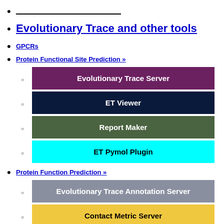___________
Evolutionary Trace and other tools
GPCRs
Protein Functional Site Prediction »
Evolutionary Trace Server
ET Viewer
Report Maker
ET Pymol Plugin
Protein Function Prediction »
Evolutionary Trace Annotation Server
Contact Metric Server
___________
F.A.Q.